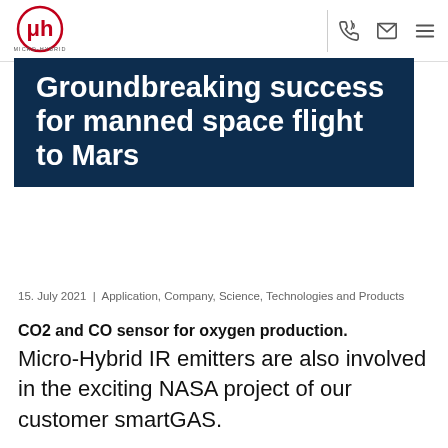Micro-Hybrid logo, phone icon, email icon, menu icon
Groundbreaking success for manned space flight to Mars
15. July 2021 | Application, Company, Science, Technologies and Products
CO2 and CO sensor for oxygen production. Micro-Hybrid IR emitters are also involved in the exciting NASA project of our customer smartGAS.